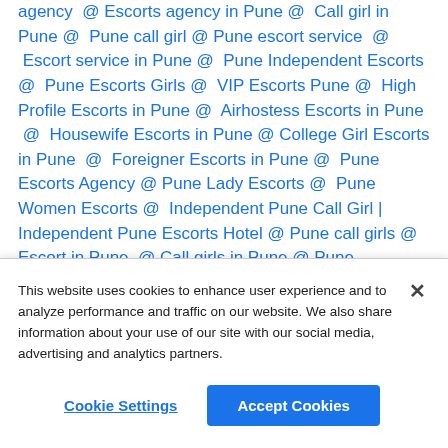agency @ Escorts agency in Pune @ Call girl in Pune @ Pune call girl @ Pune escort service @ Escort service in Pune @ Pune Independent Escorts @ Pune Escorts Girls @ VIP Escorts Pune @ High Profile Escorts in Pune @ Airhostess Escorts in Pune @ Housewife Escorts in Pune @ College Girl Escorts in Pune @ Foreigner Escorts in Pune @ Pune Escorts Agency @ Pune Lady Escorts @ Pune Women Escorts @ Independent Pune Call Girl | Independent Pune Escorts Hotel @ Pune call girls @ Escort in Pune @ Call girls in Pune @ Pune
This website uses cookies to enhance user experience and to analyze performance and traffic on our website. We also share information about your use of our site with our social media, advertising and analytics partners.
Cookie Settings
Accept Cookies